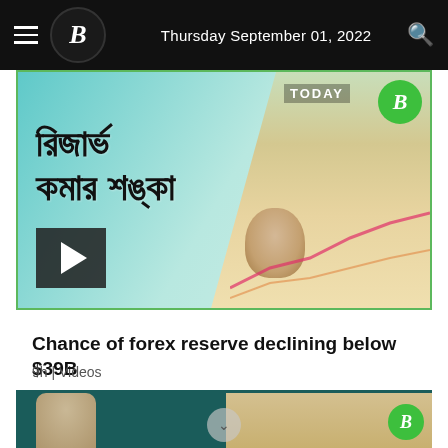Thursday September 01, 2022
[Figure (screenshot): Video thumbnail with Bengali text reading 'রিজার্ভ কমার শঙ্কা' (Risk of reserve declining) with a news presenter, money bag, and chart graphic. TODAY label and B logo visible.]
Chance of forex reserve declining below $39B
9h | Videos
[Figure (screenshot): Partial second video thumbnail showing a dark teal header bar, a person visible at left, and the B logo in green circle at bottom right. A scroll/chevron indicator is visible.]